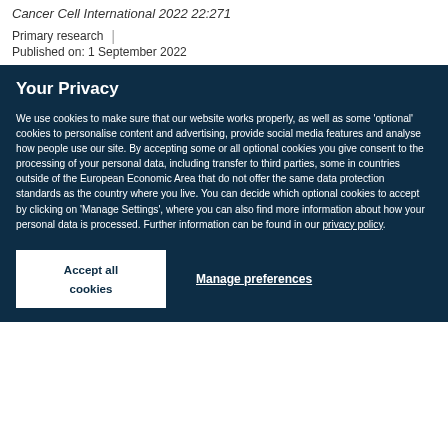Cancer Cell International 2022 22:271
Primary research | Published on: 1 September 2022
Your Privacy
We use cookies to make sure that our website works properly, as well as some 'optional' cookies to personalise content and advertising, provide social media features and analyse how people use our site. By accepting some or all optional cookies you give consent to the processing of your personal data, including transfer to third parties, some in countries outside of the European Economic Area that do not offer the same data protection standards as the country where you live. You can decide which optional cookies to accept by clicking on 'Manage Settings', where you can also find more information about how your personal data is processed. Further information can be found in our privacy policy.
Accept all cookies
Manage preferences